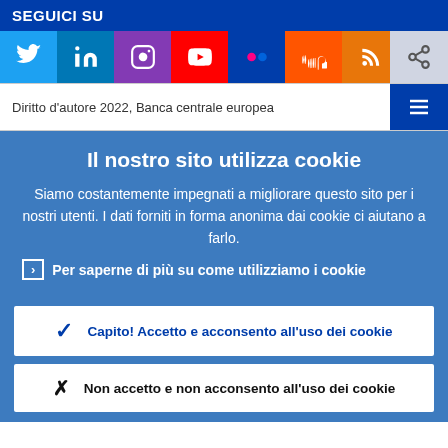SEGUICI SU
[Figure (other): Social media icons row: Twitter (blue), LinkedIn (blue), Instagram (purple), YouTube (red), Flickr (blue), SoundCloud (orange), RSS (orange), Share button (gray)]
Diritto d'autore 2022, Banca centrale europea
Il nostro sito utilizza cookie
Siamo costantemente impegnati a migliorare questo sito per i nostri utenti. I dati forniti in forma anonima dai cookie ci aiutano a farlo.
Per saperne di più su come utilizziamo i cookie
Capito! Accetto e acconsento all'uso dei cookie
Non accetto e non acconsento all'uso dei cookie